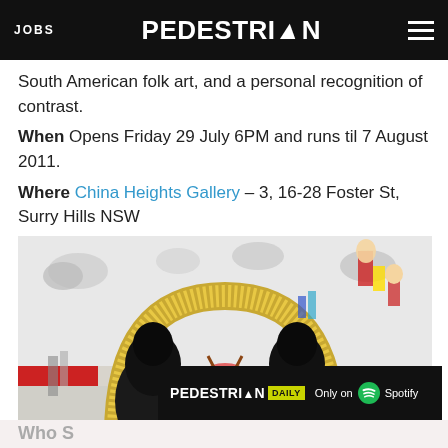JOBS | PEDESTRIAN | [menu]
South American folk art, and a personal recognition of contrast.
When Opens Friday 29 July 6PM and runs til 7 August 2011.
Where China Heights Gallery – 3, 16-28 Foster St, Surry Hills NSW
[Figure (photo): Artwork showing two large black bird-like figures standing symmetrically under an arch decorated with small dots, with a floral garland between them, colorful background with clouds and figures]
PEDESTRIAN DAILY — Only on Spotify
Who S